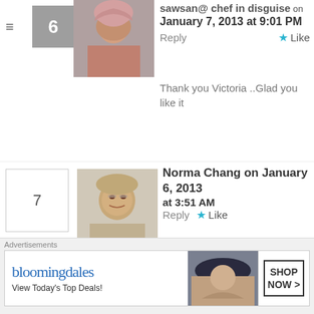sawsan@ chef in disguise on January 7, 2013 at 9:01 PM
Reply
Like
Thank you Victoria ..Glad you like it
Norma Chang on January 6, 2013 at 3:51 AM
Reply
Like
We are having winter weather also and yes,soup chases away the winter chills and blues, will be adding your soup to my menu.
[Figure (screenshot): Bloomingdales advertisement: View Today's Top Deals! SHOP NOW >]
Advertisements